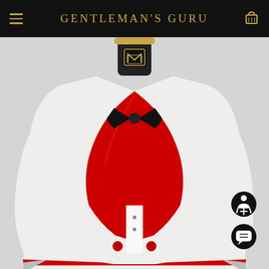Gentleman's Guru
[Figure (photo): A white tuxedo jacket with a large red satin shawl lapel and black bow tie displayed on a mannequin with a gold-rimmed black head bearing a logo. The jacket has red trim at the bottom hem. Two small red buttons are visible at the waist. The background is light gray.]